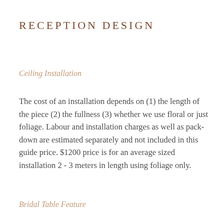RECEPTION DESIGN
Ceiling Installation
The cost of an installation depends on (1) the length of the piece (2) the fullness (3) whether we use floral or just foliage. Labour and installation charges as well as pack-down are estimated separately and not included in this guide price. $1200 price is for an average sized installation 2 - 3 meters in length using foliage only.
Bridal Table Feature